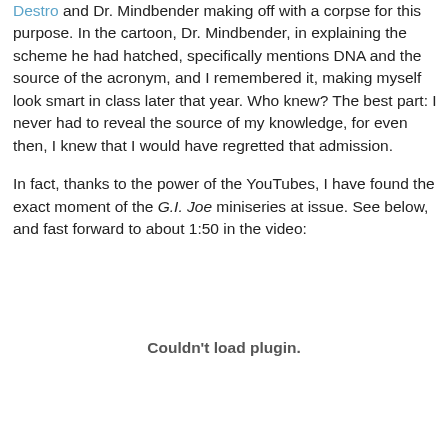Destro and Dr. Mindbender making off with a corpse for this purpose. In the cartoon, Dr. Mindbender, in explaining the scheme he had hatched, specifically mentions DNA and the source of the acronym, and I remembered it, making myself look smart in class later that year. Who knew? The best part: I never had to reveal the source of my knowledge, for even then, I knew that I would have regretted that admission.
In fact, thanks to the power of the YouTubes, I have found the exact moment of the G.I. Joe miniseries at issue. See below, and fast forward to about 1:50 in the video:
[Figure (other): Embedded video plugin placeholder showing 'Couldn't load plugin.' message]